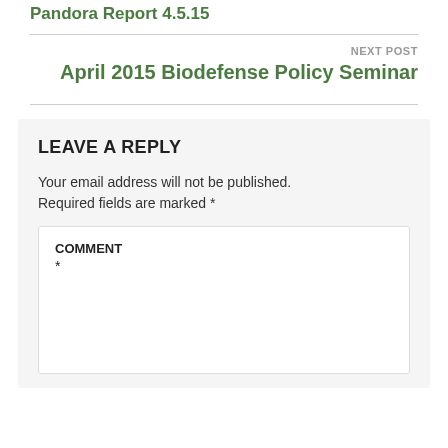Pandora Report 4.5.15
NEXT POST
April 2015 Biodefense Policy Seminar
LEAVE A REPLY
Your email address will not be published. Required fields are marked *
COMMENT *